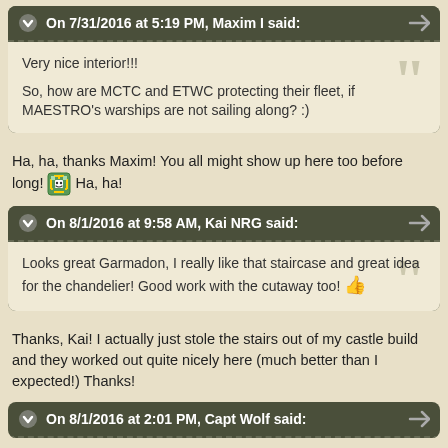On 7/31/2016 at 5:19 PM, Maxim I said:
Very nice interior!!!

So, how are MCTC and ETWC protecting their fleet, if MAESTRO's warships are not sailing along? :)
Ha, ha, thanks Maxim! You all might show up here too before long! Ha, ha!
On 8/1/2016 at 9:58 AM, Kai NRG said:
Looks great Garmadon, I really like that staircase and great idea for the chandelier! Good work with the cutaway too! 👍
Thanks, Kai! I actually just stole the stairs out of my castle build and they worked out quite nicely here (much better than I expected!) Thanks!
On 8/1/2016 at 2:01 PM, Capt Wolf said: